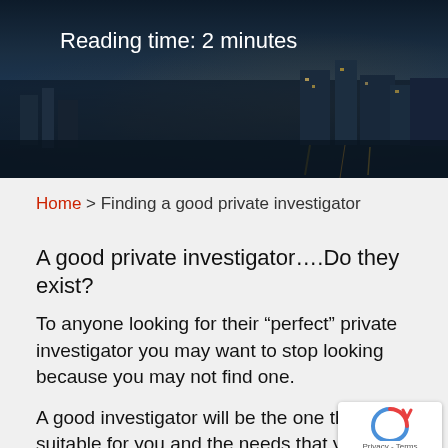[Figure (photo): Night cityscape hero image with dark blue tones showing a city skyline reflected in water]
Reading time: 2 minutes
Home > Finding a good private investigator
A good private investigator….Do they exist?
To anyone looking for their “perfect” private investigator you may want to stop looking because you may not find one.
A good investigator will be the one that suitable for you and the needs that you